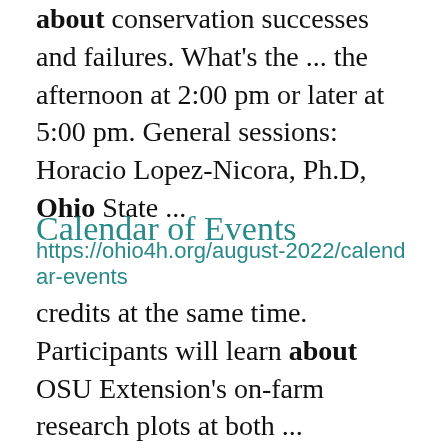about conservation successes and failures. What's the ... the afternoon at 2:00 pm or later at 5:00 pm. General sessions: Horacio Lopez-Nicora, Ph.D, Ohio State ...
Calendar of Events
https://ohio4h.org/august-2022/calendar-events credits at the same time. Participants will learn about OSU Extension's on-farm research plots at both ... landscape. Bring questions you have about your landscape, yard, or garden, as well as any insect or plant ... samples you want to know more about. To learn more or preregister for the